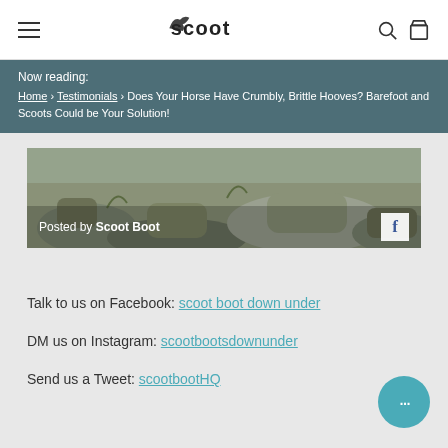Scoot Boot navigation header with logo, hamburger menu, search and cart icons
Now reading:
Home › Testimonials › Does Your Horse Have Crumbly, Brittle Hooves? Barefoot and Scoots Could be Your Solution!
[Figure (photo): Rocky terrain/trail photo with 'Posted by Scoot Boot' overlay and Facebook icon]
Talk to us on Facebook: scoot boot down under
DM us on Instagram: scootbootsdownunder
Send us a Tweet: scootbootHQ